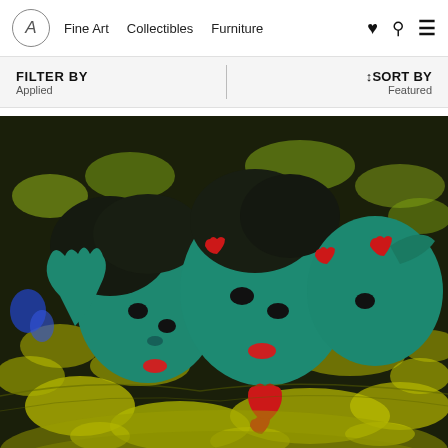A  Fine Art  Collectibles  Furniture
FILTER BY
Applied
↕SORT BY
Featured
[Figure (photo): A vibrant painting showing three stylized teal/green figures with heart shapes and yellow-green leaf/floral patterns in an expressionist style.]